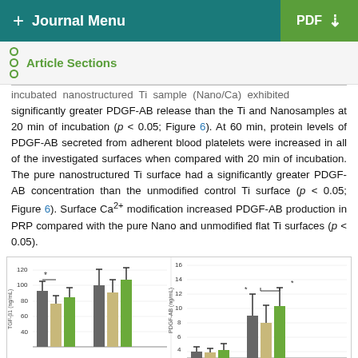+ Journal Menu   PDF ↓
Article Sections
incubated nanostructured Ti sample (Nano/Ca) exhibited significantly greater PDGF-AB release than the Ti and Nanosamples at 20 min of incubation (p < 0.05; Figure 6). At 60 min, protein levels of PDGF-AB secreted from adherent blood platelets were increased in all of the investigated surfaces when compared with 20 min of incubation. The pure nanostructured Ti surface had a significantly greater PDGF-AB concentration than the unmodified control Ti surface (p < 0.05; Figure 6). Surface Ca2+ modification increased PDGF-AB production in PRP compared with the pure Nano and unmodified flat Ti surfaces (p < 0.05).
[Figure (bar-chart): Bar charts showing TGF-β1 (ng/mL) and PDGF-AB (ng/mL) levels for different Ti surface conditions at different incubation times. Groups shown in dark gray, light/tan, and green bars. Asterisks indicate statistical significance (p < 0.05).]